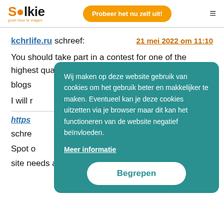Solkie | Probeer het nu zelf uit!
kchrlife.ru schreef:
21 mei 2022 om 11:10
You should take part in a contest for one of the highest quality blogs
I will r
https ... _C
schre
Spot o
site needs a great deal more attention. I'll probably be
Wij maken op deze website gebruik van cookies om het gebruik beter en makkelijker te maken. Eventueel kan je deze cookies uitzetten via je browser maar dit kan het functioneren van de website negatief beïnvloeden. Meer informatie Begrepen